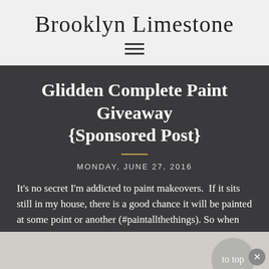Brooklyn Limestone
[Figure (other): Hamburger menu icon — three horizontal lines]
Glidden Complete Paint Giveaway {Sponsored Post}
MONDAY, JUNE 27, 2016
It's no secret I'm addicted to paint makeovers.  If it sits still in my house, there is a good chance it will be painted at some point or another (#paintallthethings). So when Glidden asked me to test out one of their two new paints, I was happy to oblige.
[Figure (photo): Partial view of a light-colored photo at the bottom of the page, partially obscured by a 'to top' button and close button overlay]